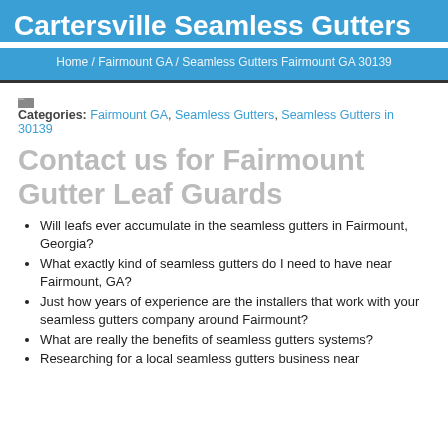Cartersville Seamless Gutters
Home / Fairmount GA / Seamless Gutters Fairmount GA 30139
Categories: Fairmount GA, Seamless Gutters, Seamless Gutters in 30139
Contact us for Fairmount Gutter Leaf Guards
Will leafs ever accumulate in the seamless gutters in Fairmount, Georgia?
What exactly kind of seamless gutters do I need to have near Fairmount, GA?
Just how years of experience are the installers that work with your seamless gutters company around Fairmount?
What are really the benefits of seamless gutters systems?
Researching for a local seamless gutters business near